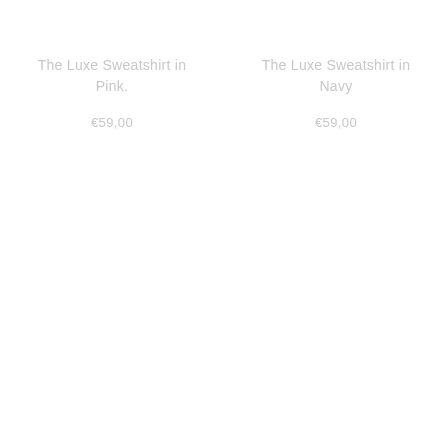The Luxe Sweatshirt in Pink.
€59,00
The Luxe Sweatshirt in Navy
€59,00